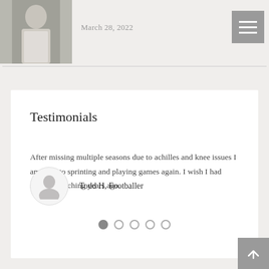[Figure (photo): Person in white shirt, cropped header photo]
March 28, 2022
Testimonials
After missing multiple seasons due to achilles and knee issues I am back to sprinting and playing games again. I wish I had started stretching years ago.
Todd H, Footballer